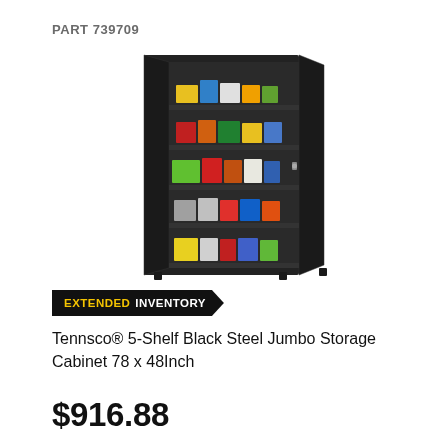PART 739709
[Figure (photo): Black steel jumbo storage cabinet with two doors open revealing 5 shelves stocked with various boxes and supplies.]
EXTENDED INVENTORY
Tennsco® 5-Shelf Black Steel Jumbo Storage Cabinet 78 x 48Inch
$916.88